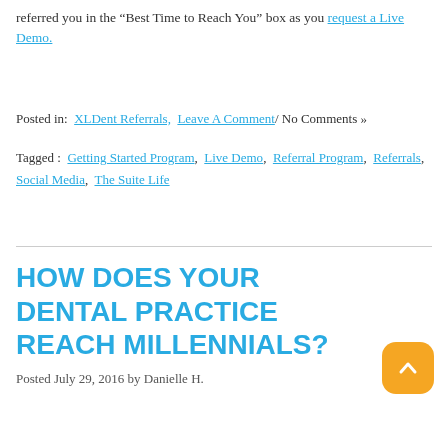referred you in the “Best Time to Reach You” box as you request a Live Demo.
Posted in: XLDent Referrals, Leave A Comment/ No Comments »
Tagged: Getting Started Program, Live Demo, Referral Program, Referrals, Social Media, The Suite Life
HOW DOES YOUR DENTAL PRACTICE REACH MILLENNIALS?
Posted July 29, 2016 by Danielle H.